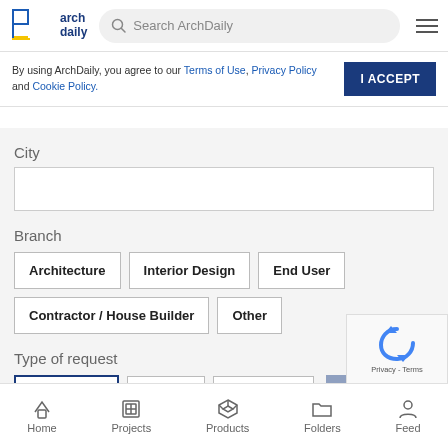Search ArchDaily
By using ArchDaily, you agree to our Terms of Use, Privacy Policy and Cookie Policy.
I ACCEPT
City
Branch
Architecture
Interior Design
End User
Contractor / House Builder
Other
Type of request
Price/Quote
Catalog
Information
Home  Projects  Products  Folders  Feed